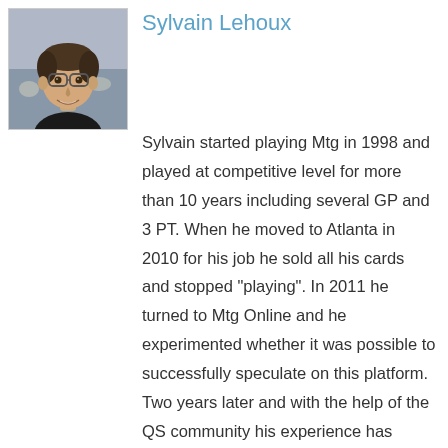[Figure (photo): Headshot photo of Sylvain Lehoux, a young man with glasses and short dark hair, smiling, wearing a dark jacket, with a blurred outdoor background.]
Sylvain Lehoux
Sylvain started playing Mtg in 1998 and played at competitive level for more than 10 years including several GP and 3 PT. When he moved to Atlanta in 2010 for his job he sold all his cards and stopped "playing". In 2011 he turned to Mtg Online and he experimented whether it was possible to successfully speculate on this platform. Two years later and with the help of the QS community his experience has grown tremendously and investing on MTGO has proven to